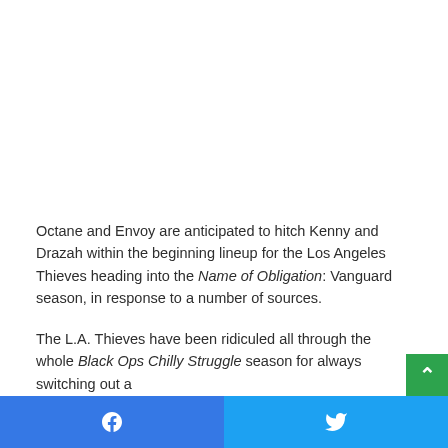Octane and Envoy are anticipated to hitch Kenny and Drazah within the beginning lineup for the Los Angeles Thieves heading into the Name of Obligation: Vanguard season, in response to a number of sources.
The L.A. Thieves have been ridiculed all through the whole Black Ops Chilly Struggle season for always switching out a
Facebook share | Twitter share